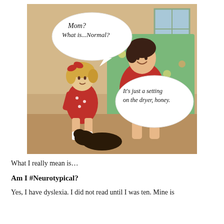[Figure (illustration): Vintage retro illustration of a mother and young daughter both wearing red dresses. The daughter asks 'Mom? What is...Normal?' in a speech bubble. The mother, who is knitting, replies 'It's just a setting on the dryer, honey.' in another speech bubble. A dog is visible near the bottom.]
What I really mean is…
Am I #Neurotypical?
Yes, I have dyslexia. I did not read until I was ten. Mine is